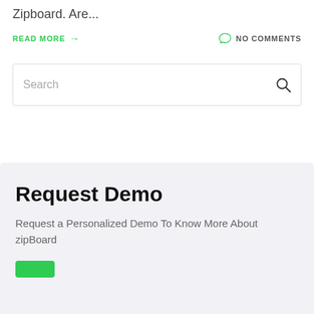Zipboard. Are...
READ MORE →
NO COMMENTS
Search
Request Demo
Request a Personalized Demo To Know More About zipBoard